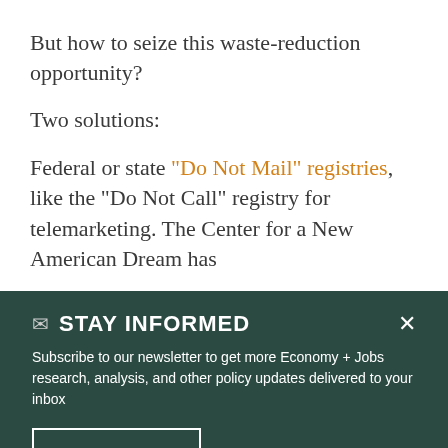But how to seize this waste-reduction opportunity?
Two solutions:
Federal or state “Do Not Mail” registries, like the “Do Not Call” registry for telemarketing. The Center for a New American Dream has
STAY INFORMED
Subscribe to our newsletter to get more Economy + Jobs research, analysis, and other policy updates delivered to your inbox
SIGN UP